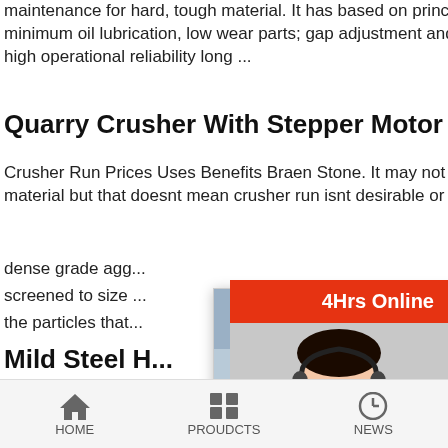maintenance for hard, tough material. It has based on principle of crushing without rubbing minimum oil lubrication, low wear parts; gap adjustment and over load protection, high capacity, high operational reliability long ...
Quarry Crusher With Stepper Motor -Crusher
Crusher Run Prices Uses Benefits Braen Stone. It may not be the most glamorous construction material but that doesnt mean crusher run isnt desirable or valu...
dense grade agg... screened to size... the particles that...
Mild Steel H... Capacity: 35 ...
National Crusher Manufacturing Company - Offering... Duty Jaw Crusher, For Stone, Capacity: 35 Ton/HR a... in Jaipur, Rajasthan. Read about company. Get cont... address | ID: 23847811930
[Figure (screenshot): Live chat popup overlay showing construction workers in hard hats, 'LIVE CHAT' text in red italic, 'Click for a Free Consultation', Chat now and Chat later buttons]
[Figure (screenshot): Right sidebar showing '4Hrs Online', female customer service agent with headset, 'Need questions & suggestion?', 'Chat Now' red oval button, 'Enquiry', 'limingjlmofen' in red bar]
HOME   PROUDCTS   NEWS